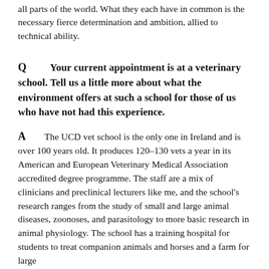all parts of the world. What they each have in common is the necessary fierce determination and ambition, allied to technical ability.
Q      Your current appointment is at a veterinary school. Tell us a little more about what the environment offers at such a school for those of us who have not had this experience.
A      The UCD vet school is the only one in Ireland and is over 100 years old. It produces 120–130 vets a year in its American and European Veterinary Medical Association accredited degree programme. The staff are a mix of clinicians and preclinical lecturers like me, and the school's research ranges from the study of small and large animal diseases, zoonoses, and parasitology to more basic research in animal physiology. The school has a training hospital for students to treat companion animals and horses and a farm for large